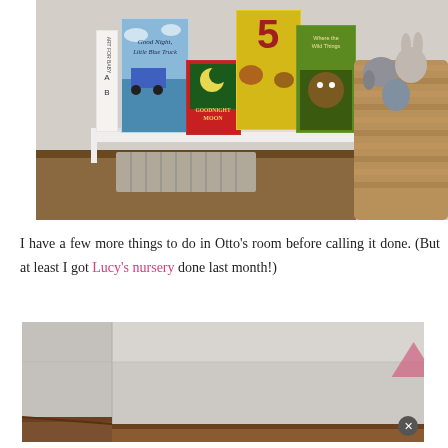[Figure (photo): A white wall-mounted book ledge shelf holding several children's books including 'Good Night, Little Blue Truck', 'Goodnight Moon', and others. To the right is a wicker basket filled with stuffed animals including a bunny and elephant.]
I have a few more things to do in Otto's room before calling it done. (But at least I got Lucy's nursery done last month!)
[Figure (photo): A room interior showing a corner with light gray walls and dark wood baseboard trim. A faint pink triangle/mountain shape is visible on the wall. The photo appears to show a child's bedroom.]